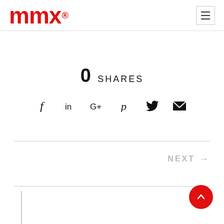mmx® [logo with hamburger menu]
0 SHARES
[Figure (infographic): Social sharing icons row: Facebook (f), LinkedIn (in), Google+ (G+), Pinterest (p), Twitter bird, Email envelope]
NEXT →